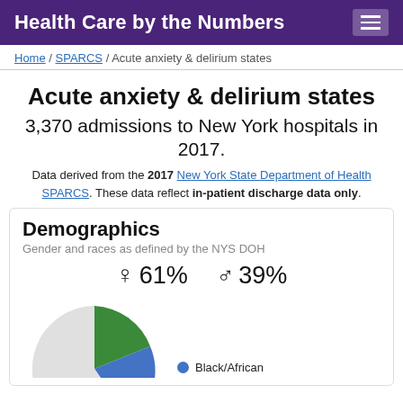Health Care by the Numbers
Home / SPARCS / Acute anxiety & delirium states
Acute anxiety & delirium states
3,370 admissions to New York hospitals in 2017.
Data derived from the 2017 New York State Department of Health SPARCS. These data reflect in-patient discharge data only.
Demographics
Gender and races as defined by the NYS DOH
♀ 61%   ♂ 39%
[Figure (pie-chart): Partial pie chart showing race demographics, with green and blue segments visible. Black/African category labeled in legend.]